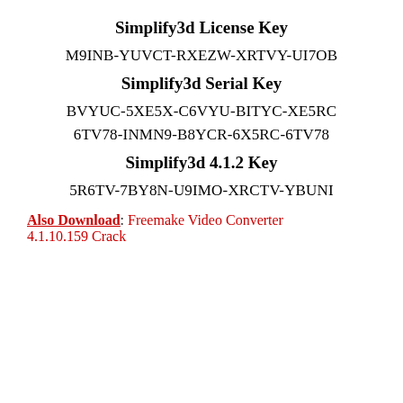Simplify3d License Key
M9INB-YUVCT-RXEZW-XRTVY-UI7OB
Simplify3d Serial Key
BVYUC-5XE5X-C6VYU-BITYC-XE5RC
6TV78-INMN9-B8YCR-6X5RC-6TV78
Simplify3d 4.1.2 Key
5R6TV-7BY8N-U9IMO-XRCTV-YBUNI
Also Download: Freemake Video Converter 4.1.10.159 Crack